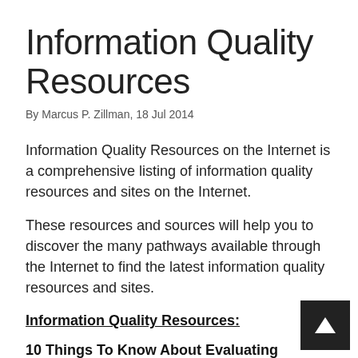Information Quality Resources
By Marcus P. Zillman, 18 Jul 2014
Information Quality Resources on the Internet is a comprehensive listing of information quality resources and sites on the Internet.
These resources and sources will help you to discover the many pathways available through the Internet to find the latest information quality resources and sites.
Information Quality Resources:
10 Things To Know About Evaluating Medical Resources on the Web